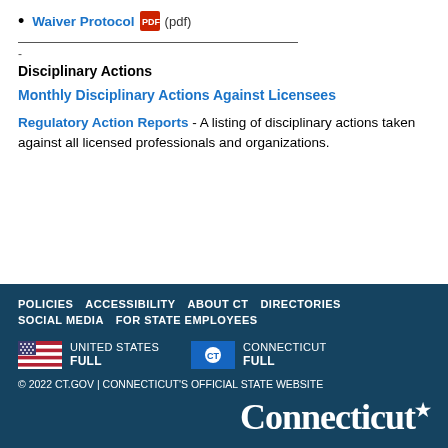Waiver Protocol (pdf)
Disciplinary Actions
Monthly Disciplinary Actions Against Licensees
Regulatory Action Reports - A listing of disciplinary actions taken against all licensed professionals and organizations.
POLICIES | ACCESSIBILITY | ABOUT CT | DIRECTORIES | SOCIAL MEDIA | FOR STATE EMPLOYEES
UNITED STATES FULL
CONNECTICUT FULL
© 2022 CT.GOV | CONNECTICUT'S OFFICIAL STATE WEBSITE
Connecticut